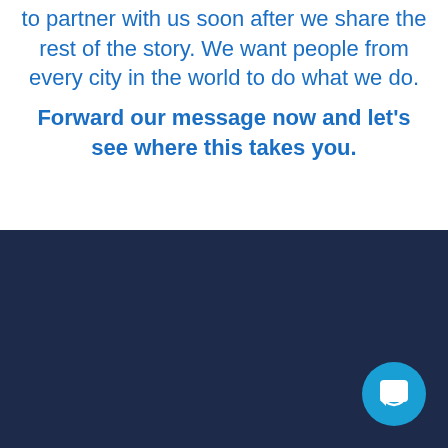to partner with us soon after we share the rest of the story. We want people from every city in the world to do what we do.
Forward our message now and let's see where this takes you.
[Figure (other): Dark navy blue background section with a circular teal chat/messenger button icon in the bottom right corner]